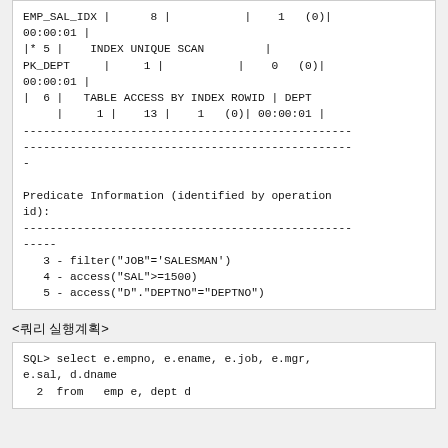EMP_SAL_IDX |      8 |           |    1   (0)|
00:00:01 |
|* 5 |    INDEX UNIQUE SCAN         |
PK_DEPT     |     1 |           |    0   (0)|
00:00:01 |
|  6 |   TABLE ACCESS BY INDEX ROWID | DEPT
     |     1 |    13 |    1   (0)| 00:00:01 |
-------------------------------------------------
-------------------------------------------------
-
Predicate Information (identified by operation
id):
-------------------------------------------------
-----
   3 - filter("JOB"='SALESMAN')
   4 - access("SAL">=1500)
   5 - access("D"."DEPTNO"="DEPTNO")
<쿼리 실행계획>
SQL> select e.empno, e.ename, e.job, e.mgr,
e.sal, d.dname
  2  from   emp e, dept d